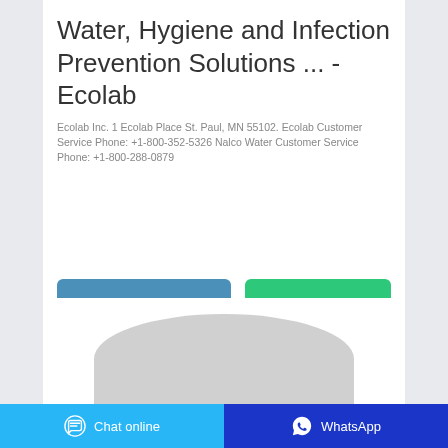Water, Hygiene and Infection Prevention Solutions ... - Ecolab
Ecolab Inc. 1 Ecolab Place St. Paul, MN 55102. Ecolab Customer Service Phone: +1-800-352-5326 Nalco Water Customer Service Phone: +1-800-288-0879
[Figure (screenshot): Two buttons: 'Contact the manufacturer' (blue) and 'WhatsApp' (green)]
[Figure (photo): Partial product image showing a grey oval/round shape at bottom of card]
Chat online   WhatsApp